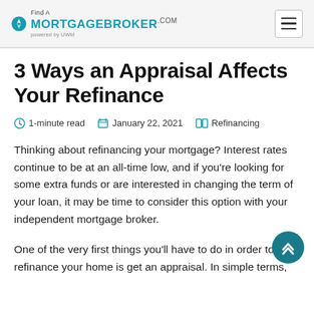Find A MORTGAGEBROKER.com powered by UWM
3 Ways an Appraisal Affects Your Refinance
1-minute read   January 22, 2021   Refinancing
Thinking about refinancing your mortgage? Interest rates continue to be at an all-time low, and if you're looking for some extra funds or are interested in changing the term of your loan, it may be time to consider this option with your independent mortgage broker.
One of the very first things you'll have to do in order to refinance your home is get an appraisal. In simple terms,